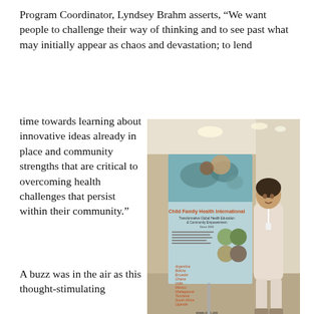Program Coordinator, Lyndsey Brahm asserts, “We want people to challenge their way of thinking and to see past what may initially appear as chaos and devastation; to lend time towards learning about innovative ideas already in place and community strengths that are critical to overcoming health challenges that persist within their community.”
[Figure (photo): A woman standing next to a Child Family Health International promotional banner/roll-up display in a hotel hallway. The banner shows the organization's logo, world map imagery, photos of people, and the website www.cfhi.org.]
A buzz was in the air as this thought-stimulating